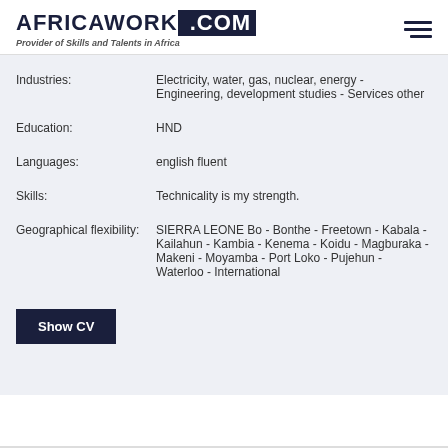AFRICAWORK .COM - Provider of Skills and Talents in Africa
Industries: Electricity, water, gas, nuclear, energy - Engineering, development studies - Services other
Education: HND
Languages: english fluent
Skills: Technicality is my strength.
Geographical flexibility: SIERRA LEONE Bo - Bonthe - Freetown - Kabala - Kailahun - Kambia - Kenema - Koidu - Magburaka - Makeni - Moyamba - Port Loko - Pujehun - Waterloo - International
Show CV